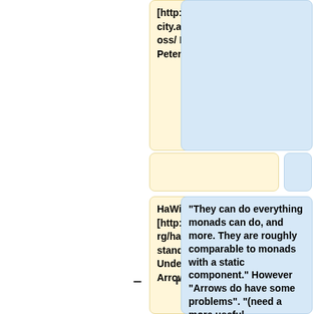[http://www.soi.city.ac.uk/%7Eross/ Ross Peterson].
HaWiki's [http://haskell.org/hawiki/UnderstandingArrows Understanding Arrows].
"They can do everything monads can do, and more.  They are roughly comparable to monads with a static component." However "Arrows do have some problems". "(need a more useful comparison)"